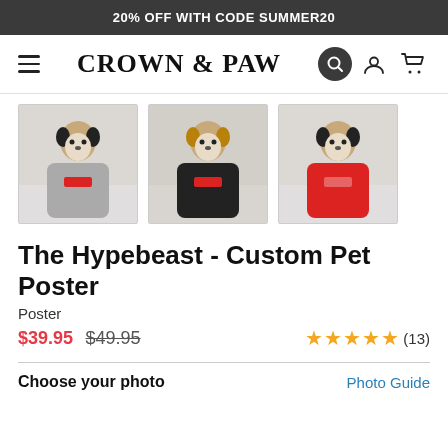20% OFF WITH CODE SUMMER20
[Figure (logo): Crown & Paw brand logo with hamburger menu, search, account, and cart icons]
[Figure (photo): Three product thumbnail images showing custom pet posters: dog in grey hoodie, dog in black hoodie, dog in red hoodie]
The Hypebeast - Custom Pet Poster
Poster
$39.95 $49.95 (13 reviews, 5 stars)
Choose your photo
Photo Guide